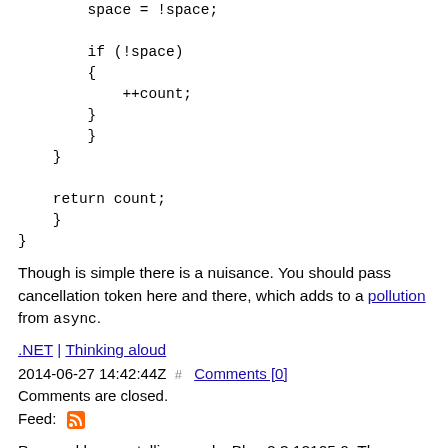space = !space;

if (!space)
{
    ++count;
}
}
}

return count;
}
}
Though is simple there is a nuisance. You should pass cancellation token here and there, which adds to a pollution from async.
.NET | Thinking aloud
2014-06-27 14:42:44Z  #  Comments [0]
Comments are closed.
Feed:
Powered by: newtelligence dasBlog 2.3.12105.0. The content of this site are my own personal opinions and do not represent my employer's view in anyway.
© Copyright 2022   Nesterovsky bros